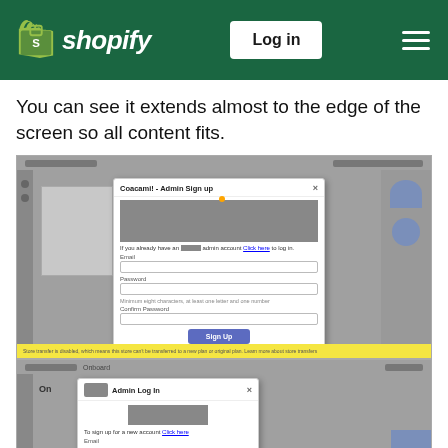Shopify — Log in
You can see it extends almost to the edge of the screen so all content fits.
[Figure (screenshot): Screenshot of a website showing a modal dialog titled 'Coacami! - Admin Sign Up' with email and password fields, a Sign Up button, and a yellow warning bar at the bottom.]
[Figure (screenshot): Screenshot of a website showing a modal dialog titled 'Admin Log In' with email field and a link to sign up.]